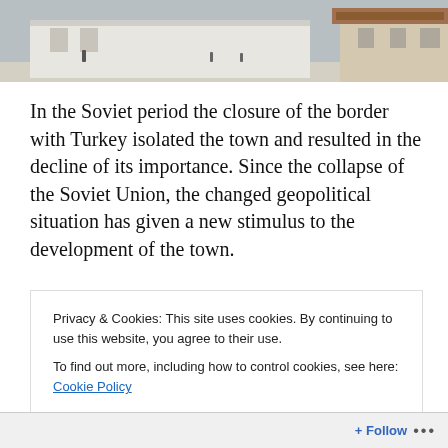[Figure (photo): Black and white or muted-color photo showing a town square or street scene with white buildings, a tiled-roof structure on the right, and a few distant pedestrian figures on a wide open paved area.]
In the Soviet period the closure of the border with Turkey isolated the town and resulted in the decline of its importance. Since the collapse of the Soviet Union, the changed geopolitical situation has given a new stimulus to the development of the town.
[Figure (screenshot): Advertisement banner with gradient background (blue to pink) showing text 'everything you need.' and WordPress.com logo on the right. A 'REPORT THIS AD' link appears below the banner.]
Privacy & Cookies: This site uses cookies. By continuing to use this website, you agree to their use.
To find out more, including how to control cookies, see here: Cookie Policy
Close and accept
Follow ...